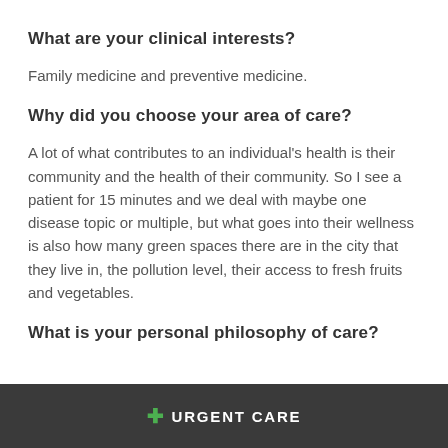What are your clinical interests?
Family medicine and preventive medicine.
Why did you choose your area of care?
A lot of what contributes to an individual's health is their community and the health of their community. So I see a patient for 15 minutes and we deal with maybe one disease topic or multiple, but what goes into their wellness is also how many green spaces there are in the city that they live in, the pollution level, their access to fresh fruits and vegetables.
What is your personal philosophy of care?
+ URGENT CARE